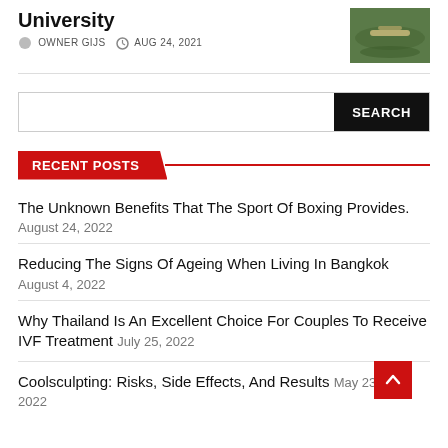University
OWNER GIJS  AUG 24, 2021
[Figure (photo): Outdoor photo showing a curved green path or bridge structure]
SEARCH
RECENT POSTS
The Unknown Benefits That The Sport Of Boxing Provides.
August 24, 2022
Reducing The Signs Of Ageing When Living In Bangkok
August 4, 2022
Why Thailand Is An Excellent Choice For Couples To Receive IVF Treatment July 25, 2022
Coolsculpting: Risks, Side Effects, And Results May 23, 2022